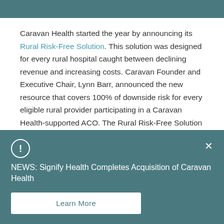Caravan Health started the year by announcing its Rural Risk-Free Solution. This solution was designed for every rural hospital caught between declining revenue and increasing costs. Caravan Founder and Executive Chair, Lynn Barr, announced the new resource that covers 100% of downside risk for every eligible rural provider participating in a Caravan Health-supported ACO. The Rural Risk-Free Solution got Caravan Health and its rural providers off to a promising start with the message
NEWS: Signify Health Completes Acquisition of Caravan Health